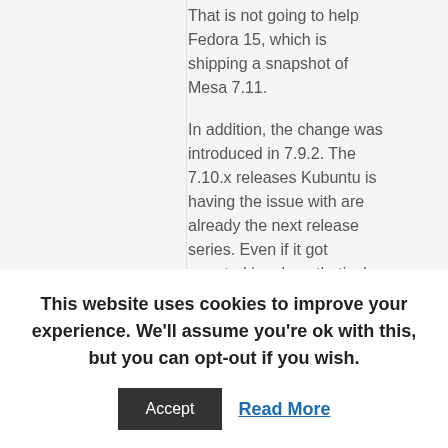That is not going to help Fedora 15, which is shipping a snapshot of Mesa 7.11.
In addition, the change was introduced in 7.9.2. The 7.10.x releases Kubuntu is having the issue with are already the next release series. Even if it got reverted in a hypothetical 7.9.3
This website uses cookies to improve your experience. We'll assume you're ok with this, but you can opt-out if you wish.